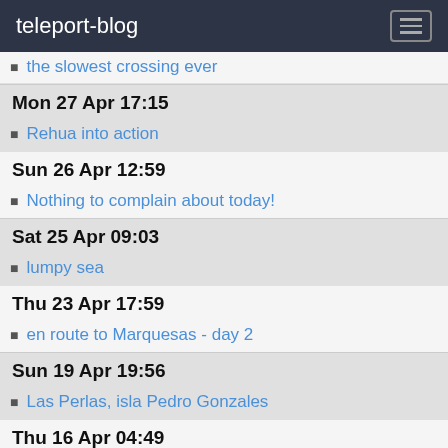teleport-blog
the slowest crossing ever
Mon 27 Apr 17:15
Rehua into action
Sun 26 Apr 12:59
Nothing to complain about today!
Sat 25 Apr 09:03
lumpy sea
Thu 23 Apr 17:59
en route to Marquesas - day 2
Sun 19 Apr 19:56
Las Perlas, isla Pedro Gonzales
Thu 16 Apr 04:49
La Playita, Panama cite
Mon 6 Apr 17:14
Shelter Bay marina, Colon
Fri 3 Apr 09:36